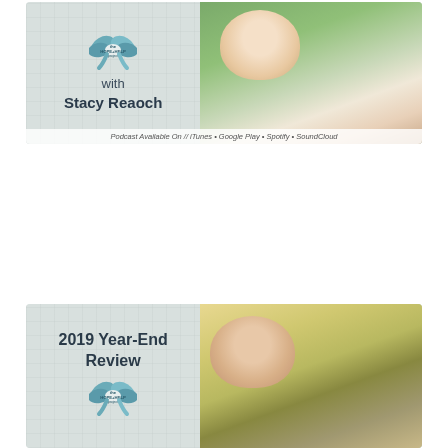[Figure (illustration): Podcast card for 'The Hope + Help Project' featuring text 'with Stacy Reaoch', a decorative bow/logo icon, and a photo of a smiling blonde woman. Bottom bar reads: 'Podcast Available On // iTunes • Google Play • Spotify • SoundCloud']
[Figure (illustration): Podcast card for 'The Hope + Help Project' featuring text '2019 Year-End Review', a decorative bow/logo icon, and a photo of a smiling brunette woman.]